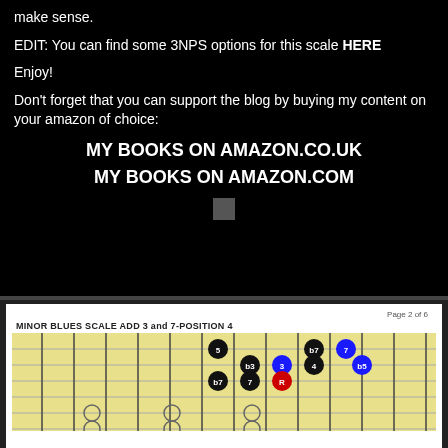make sense.
EDIT: You can find some 3NPS options for this scale HERE
Enjoy!
Don't forget that you can support the blog by buying my content on your amazon of choice:
MY BOOKS ON AMAZON.CO.UK
MY BOOKS ON AMAZON.COM
[Figure (other): Guitar fretboard diagram showing MINOR BLUES SCALE ADD 3 and 7 - POSITION 4 with colored note circles (black, blue, red) on a yellow fretboard. Page 2 of 6.]